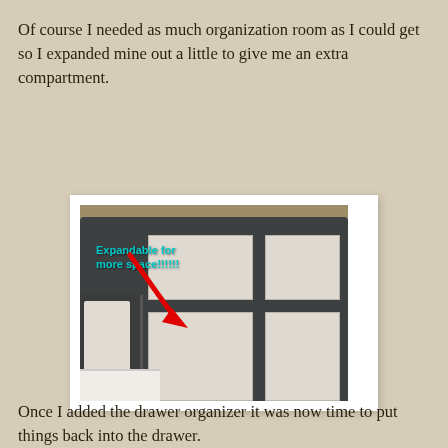Of course I needed as much organization room as I could get so I expanded mine out a little to give me an extra compartment.
[Figure (photo): Photo of an expandable drawer organizer tray, dark gray plastic outer tray with white compartments inside, shown expanded with a red arrow pointing to the expanded section. Text annotation in cyan reads 'Expandable for more space!!!!!!']
Once I added the drawer organizer it was now time to put things back into the drawer.